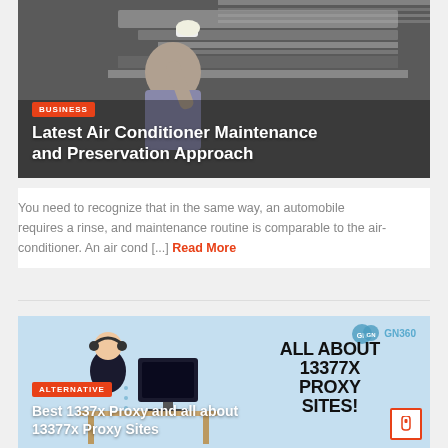[Figure (photo): Photo of a technician working on an air conditioner HVAC unit, viewed from below, wearing gloves]
BUSINESS
Latest Air Conditioner Maintenance and Preservation Approach
You need to recognize that in the same way, an automobile requires a rinse, and maintenance routine is comparable to the air-conditioner. An air cond [...] Read More
[Figure (illustration): Illustration of a person sitting at a desk with a monitor on a light blue background, with GN360 logo and text 'ALL ABOUT 13377X PROXY SITES!']
ALTERNATIVE
Best 1337x Proxy and all about 13377x Proxy Sites